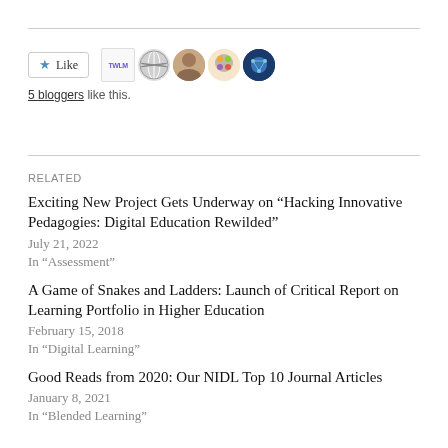[Figure (other): Like button with star icon and 5 blogger avatars]
5 bloggers like this.
RELATED
Exciting New Project Gets Underway on “Hacking Innovative Pedagogies: Digital Education Rewilded”
July 21, 2022
In “Assessment”
A Game of Snakes and Ladders: Launch of Critical Report on Learning Portfolio in Higher Education
February 15, 2018
In “Digital Learning”
Good Reads from 2020: Our NIDL Top 10 Journal Articles
January 8, 2021
In “Blended Learning”